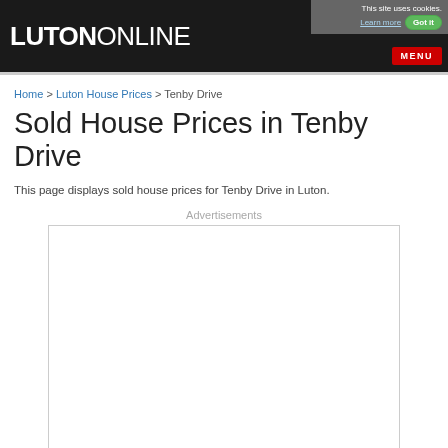LUTONONLINE
This site uses cookies. Learn more Got it MENU
Home > Luton House Prices > Tenby Drive
Sold House Prices in Tenby Drive
This page displays sold house prices for Tenby Drive in Luton.
Advertisements
[Figure (other): Advertisement placeholder box, empty white rectangle with grey border]